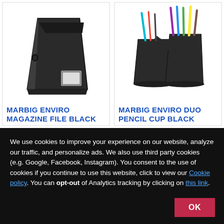[Figure (photo): Photo of Marbig Enviro Magazine File Black, a black angular magazine file/holder]
MARBIG ENVIRO MAGAZINE FILE BLACK
[Figure (photo): Photo of Marbig Enviro Duo Pencil Cup Black, a double-cup black desk organizer filled with pens and markers]
MARBIG ENVIRO DUO PENCIL CUP BLACK
We use cookies to improve your experience on our website, analyze our traffic, and personalize ads. We also use third party cookies (e.g. Google, Facebook, Instagram). You consent to the use of cookies if you continue to use this website, click to view our Cookie policy. You can opt-out of Analytics tracking by clicking on this link.
OK